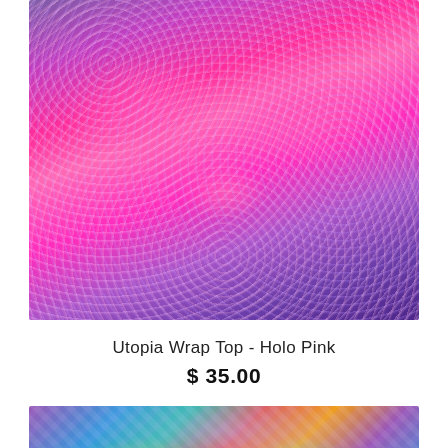[Figure (photo): A model wearing a holographic neon pink wrap top (Utopia Wrap Top - Holo Pink) with iridescent sequin-like fabric. The model has light blue/silver hair and stands against a colorful holographic sequin backdrop with purple and blue lighting.]
Utopia Wrap Top - Holo Pink
$ 35.00
[Figure (photo): Partial view of another product listing showing a model wearing a holographic multi-color outfit against a purple-lit background.]